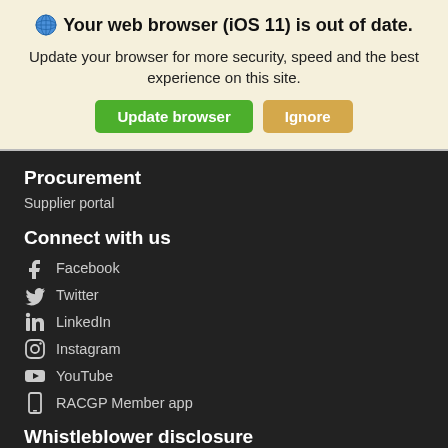Your web browser (iOS 11) is out of date.
Update your browser for more security, speed and the best experience on this site.
Procurement
Supplier portal
Connect with us
Facebook
Twitter
LinkedIn
Instagram
YouTube
RACGP Member app
Whistleblower disclosure
Make a disclosure